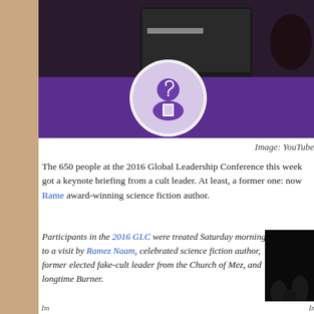[Figure (photo): Photo from a conference venue with a YouTube logo/icon overlay showing a purple circular icon with a person and spiral design. Background shows a purple desk/table setup.]
Image: YouTube
The 650 people at the 2016 Global Leadership Conference this week got a keynote briefing from a cult leader. At least, a former one: now Ramez Naam award-winning science fiction author.
Participants in the 2016 GLC were treated Saturday morning to a visit by Ramez Naam, celebrated science fiction author, former elected fake-cult leader from the Church of Mez, and longtime Burner.

Mez's talk challenged Burners and Burner-like humans to take on their civic responsibility as explorers and engineers of inner and outer space. "We are the ones that we have been waiting for," Mez said.
[Figure (photo): Dark photo of people at a conference or event, very low lighting.]